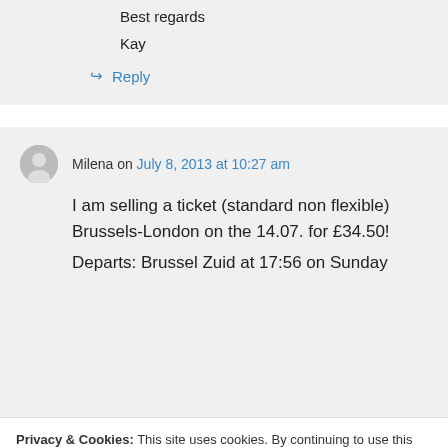Best regards
Kay
↪ Reply
Milena on July 8, 2013 at 10:27 am
I am selling a ticket (standard non flexible) Brussels-London on the 14.07. for £34.50!
Departs: Brussel Zuid at 17:56 on Sunday
Privacy & Cookies: This site uses cookies. By continuing to use this website, you agree to their use.
To find out more, including how to control cookies, see here: Cookie Policy
Close and accept
interested and will came back to you